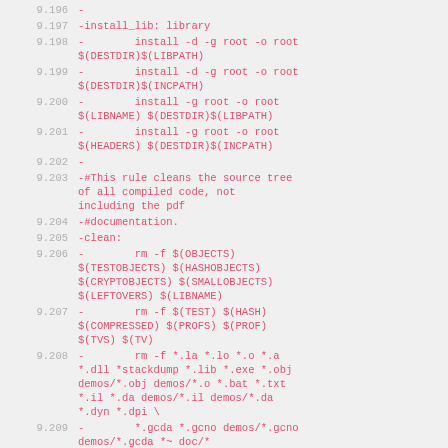9.196  -
9.197  -install_lib: library
9.198  -        install -d -g root -o root $(DESTDIR)$(LIBPATH)
9.199  -        install -d -g root -o root $(DESTDIR)$(INCPATH)
9.200  -        install -g root -o root $(LIBNAME) $(DESTDIR)$(LIBPATH)
9.201  -        install -g root -o root $(HEADERS) $(DESTDIR)$(INCPATH)
9.202  -
9.203  -#This rule cleans the source tree of all compiled code, not including the pdf
9.204  -#documentation.
9.205  -clean:
9.206  -        rm -f $(OBJECTS) $(TESTOBJECTS) $(HASHOBJECTS) $(CRYPTOBJECTS) $(SMALLOBJECTS) $(LEFTOVERS) $(LIBNAME)
9.207  -        rm -f $(TEST) $(HASH) $(COMPRESSED) $(PROFS) $(PROF) $(TVS) $(TV)
9.208  -        rm -f *.la *.lo *.o *.a *.dll *stackdump *.lib *.exe *.obj demos/*.obj demos/*.o *.bat *.txt *.il *.da demos/*.il demos/*.da *.dyn *.dpi \
9.209  -        *.gcda *.gcno demos/*.gcno demos/*.gcda *~ doc/*
9.210  ...